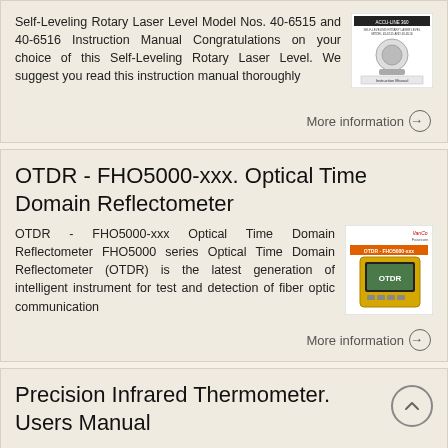Self-Leveling Rotary Laser Level Model Nos. 40-6515 and 40-6516 Instruction Manual Congratulations on your choice of this Self-Leveling Rotary Laser Level. We suggest you read this instruction manual thoroughly
[Figure (photo): Thumbnail image of Accuarc 360 Self-Leveling Rotary Laser Level instruction manual cover]
More information →
OTDR - FHO5000-xxx. Optical Time Domain Reflectometer
OTDR - FHO5000-xxx Optical Time Domain Reflectometer FHO5000 series Optical Time Domain Reflectometer (OTDR) is the latest generation of intelligent instrument for test and detection of fiber optic communication
[Figure (photo): Thumbnail image of OTDR FHO5000-xxx Optical Time Domain Reflectometer device]
More information →
Precision Infrared Thermometer. Users Manual